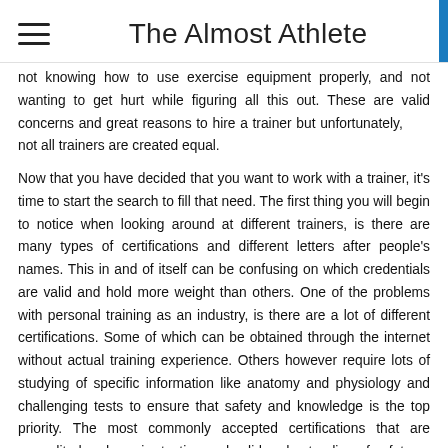The Almost Athlete
not knowing how to use exercise equipment properly, and not wanting to get hurt while figuring all this out. These are valid concerns and great reasons to hire a trainer but unfortunately, not all trainers are created equal.
Now that you have decided that you want to work with a trainer, it's time to start the search to fill that need. The first thing you will begin to notice when looking around at different trainers, is there are many types of certifications and different letters after people's names. This in and of itself can be confusing on which credentials are valid and hold more weight than others. One of the problems with personal training as an industry, is there are a lot of different certifications. Some of which can be obtained through the internet without actual training experience. Others however require lots of studying of specific information like anatomy and physiology and challenging tests to ensure that safety and knowledge is the top priority. The most commonly accepted certifications that are accredited and require testing and valid understanding of safety as well as anatomy and